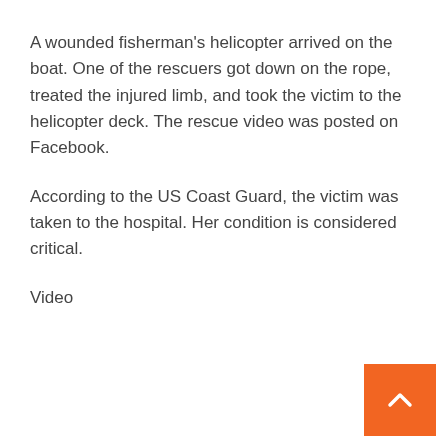A wounded fisherman's helicopter arrived on the boat. One of the rescuers got down on the rope, treated the injured limb, and took the victim to the helicopter deck. The rescue video was posted on Facebook.
According to the US Coast Guard, the victim was taken to the hospital. Her condition is considered critical.
Video